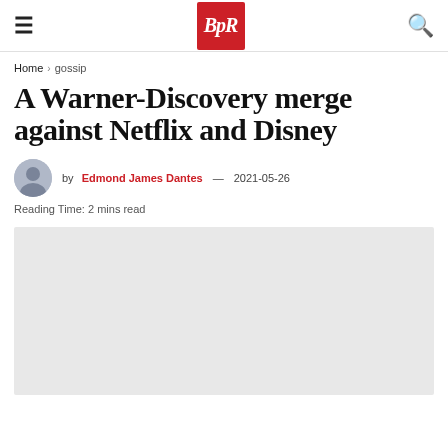BpR
Home › gossip
A Warner-Discovery merge against Netflix and Disney
by Edmond James Dantes — 2021-05-26
Reading Time: 2 mins read
[Figure (photo): Article featured image placeholder, light gray background]